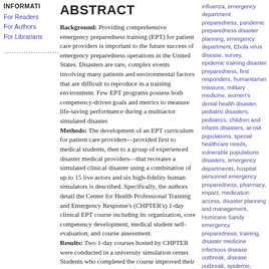INFORMATI
For Readers
For Authors
For Librarians
ABSTRACT
Background: Providing comprehensive emergency preparedness training (EPT) for patient care providers is important to the future success of emergency preparedness operations in the United States. Disasters are rare, complex events involving many patients and environmental factors that are difficult to reproduce in a training environment. Few EPT programs possess both competency-driven goals and metrics to measure life-saving performance during a multiactor simulated disaster. Methods: The development of an EPT curriculum for patient care providers—provided first to medical students, then to a group of experienced disaster medical providers—that recreates a simulated clinical disaster using a combination of up to 15 live actors and six high-fidelity human simulators is described. Specifically, the authors detail the Center for Health Professional Training and Emergency Response's (CHPTER's) 1-day clinical EPT course including its organization, core competency development, medical student self-evaluation, and course assessment. Results: Two 1-day courses hosted by CHPTER were conducted in a university simulation center. Students who completed the course improved their overall knowledge and comfort level with EPT skills. Conclusions: The authors believe this is the first published description of a curriculum
influenza, emergency department preparedness, pandemic preparedness disaster planning, emergency department, Ebola virus disease, survey, epidemic training disaster preparedness, first responders, humanitarian missions, military medicine, women's dental health disaster, pediatric disasters, pediatrics, children and infants disasters, at-risk populations, special healthcare needs, vulnerable populations disasters, emergency departments, hospital personnel emergency preparedness, pharmacy, impact, medication access, disaster planning and management, Hurricane Sandy emergency preparedness, training, disaster medicine infectious disease outbreak, disease outbreak, epidemic, pandemic, influenza, novel virus, emerging disease pandemic